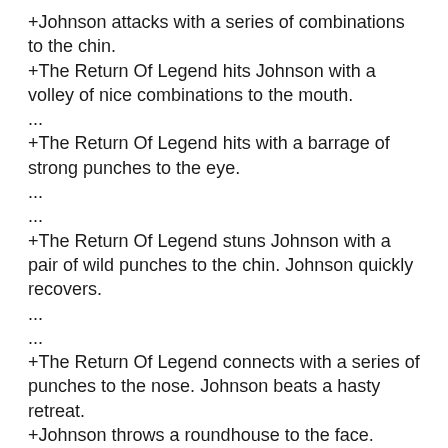+Johnson attacks with a series of combinations to the chin.
+The Return Of Legend hits Johnson with a volley of nice combinations to the mouth.
...
+The Return Of Legend hits with a barrage of strong punches to the eye.
...
...
+The Return Of Legend stuns Johnson with a pair of wild punches to the chin. Johnson quickly recovers.
...
...
+The Return Of Legend connects with a series of punches to the nose. Johnson beats a hasty retreat.
+Johnson throws a roundhouse to the face.
...
+Johnson thumps The Return Of Legend with a barrage of combinations to the nose. The Return Of Legend